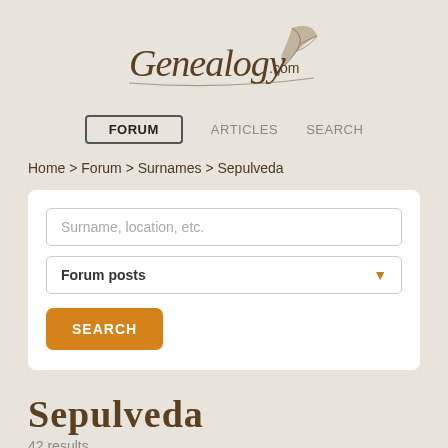[Figure (logo): Genealogy.com logo with quill feather illustration in script font]
FORUM   ARTICLES   SEARCH
Home > Forum > Surnames > Sepulveda
Surname, location, etc.
Forum posts
SEARCH
Sepulveda
42 results